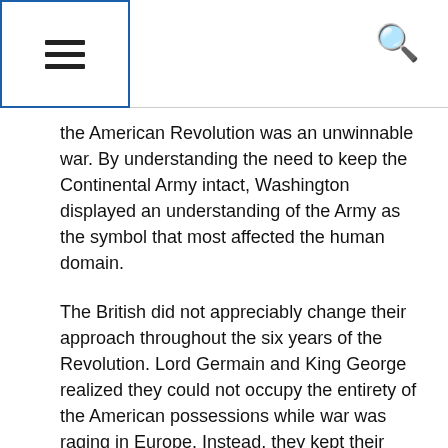≡  🔍
the American Revolution was an unwinnable war. By understanding the need to keep the Continental Army intact, Washington displayed an understanding of the Army as the symbol that most affected the human domain.
The British did not appreciably change their approach throughout the six years of the Revolution. Lord Germain and King George realized they could not occupy the entirety of the American possessions while war was raging in Europe. Instead, they kept their focus on occupation of key coastal areas to interdict commerce and splinter the colonies. British commanders continued to leverage their strengths by using naval forces to dominate coastal and tidewater areas and ports and using the army to control major population areas. The British seized New York in August of 1776, attempted